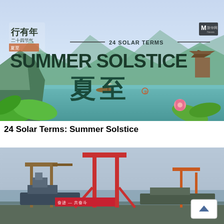[Figure (illustration): Decorative banner image for '24 Solar Terms: Summer Solstice' showing Chinese landscape with lotus flowers, mountains, lake, and large text reading '24 SOLAR TERMS SUMMER SOLSTICE 夏至' with a Chinese media logo in the top right corner.]
24 Solar Terms: Summer Solstice
[Figure (photo): Photograph of a shipyard or industrial port showing large red crane structures against a grey sky, with ships and heavy industrial equipment visible.]